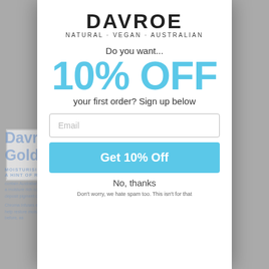[Figure (screenshot): Davroe website product page partially visible in background, showing 'Davroe Chroma Blushing Gold' product with blue text and description text about colour treatment]
[Figure (screenshot): White modal popup overlay on the Davroe website]
DAVROE
NATURAL · VEGAN · AUSTRALIAN
Do you want...
10% OFF
your first order? Sign up below
Email
Get 10% Off
No, thanks
Don't worry, we hate spam too. This isn't for that